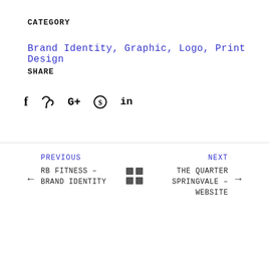CATEGORY
Brand Identity, Graphic, Logo, Print Design
SHARE
[Figure (infographic): Social share icons: f (Facebook), bird/twitter icon, G+ (Google Plus), Pinterest circle icon, in (LinkedIn)]
PREVIOUS ← RB FITNESS – BRAND IDENTITY
NEXT → THE QUARTER SPRINGVALE – WEBSITE